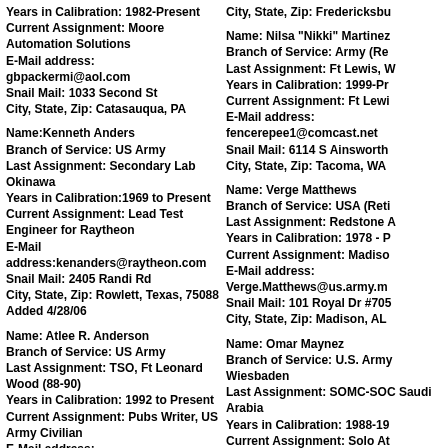Years in Calibration: 1982-Present
Current Assignment: Moore Automation Solutions
E-Mail address: gbpackermi@aol.com
Snail Mail: 1033 Second St
City, State, Zip: Catasauqua, PA
Name:Kenneth Anders
Branch of Service: US Army
Last Assignment: Secondary Lab Okinawa
Years in Calibration:1969 to Present
Current Assignment: Lead Test Engineer for Raytheon
E-Mail address:kenanders@raytheon.com
Snail Mail: 2405 Randi Rd
City, State, Zip: Rowlett, Texas, 75088
Added 4/28/06
Name: Atlee R. Anderson
Branch of Service: US Army
Last Assignment: TSO, Ft Leonard Wood (88-90)
Years in Calibration: 1992 to Present
Current Assignment: Pubs Writer, US Army Civilian
E-Mail address: atlee.anderson@redstone.army.mil
Snail Mail: 3203 Cove Lake Road
City, State, Zip: Fredericksbu
Name: Nilsa "Nikki" Martinez
Branch of Service: Army (Re
Last Assignment: Ft Lewis, W
Years in Calibration: 1999-Pr
Current Assignment: Ft Lewi
E-Mail address:
fencerepee1@comcast.net
Snail Mail: 6114 S Ainsworth
City, State, Zip: Tacoma, WA
Name: Verge Matthews
Branch of Service: USA (Reti
Last Assignment: Redstone A
Years in Calibration: 1978 - P
Current Assignment: Madiso
E-Mail address:
Verge.Matthews@us.army.m
Snail Mail: 101 Royal Dr #705
City, State, Zip: Madison, AL
Name: Omar Maynez
Branch of Service: U.S. Army Wiesbaden
Last Assignment: SOMC-SOC Saudi Arabia
Years in Calibration: 1988-19
Current Assignment: Solo At
E-Mail address: